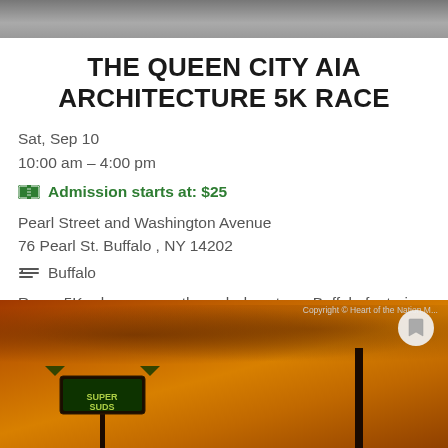[Figure (photo): Top photo strip showing an aerial or street view scene]
THE QUEEN CITY AIA ARCHITECTURE 5K RACE
Sat, Sep 10
10:00 am - 4:00 pm
Admission starts at: $25
Pearl Street and Washington Avenue
76 Pearl St. Buffalo , NY 14202
Buffalo
Run a 5K urban course through downtown Buffalo featuring world renowned architecture. All proceeds support AIA Buffalo/WNY scholarship initiatives and ...
[Figure (photo): Photo of a sign or landmark under a dramatic orange/cloudy sky at dusk or sunset, with a Super Suds or similar sign visible]